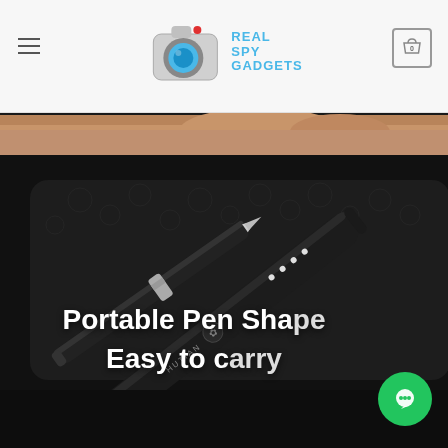Real Spy Gadgets - logo and navigation
[Figure (photo): Product photo of a HUTIAN branded portable pen-shaped spy camera/recorder in black, resting on a black leather case against a dark background. Text overlay reads 'Portable Pen Sha... Easy to c...' A green chat bubble icon is visible in the bottom right corner.]